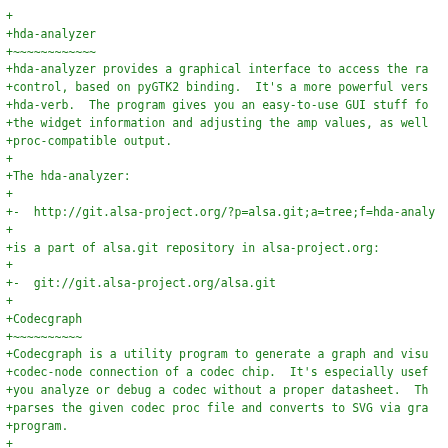+
+hda-analyzer
+~~~~~~~~~~~~
+hda-analyzer provides a graphical interface to access the ra
+control, based on pyGTK2 binding.  It's a more powerful vers
+hda-verb.  The program gives you an easy-to-use GUI stuff fo
+the widget information and adjusting the amp values, as well
+proc-compatible output.
+
+The hda-analyzer:
+
+-  http://git.alsa-project.org/?p=alsa.git;a=tree;f=hda-analy
+
+is a part of alsa.git repository in alsa-project.org:
+
+-  git://git.alsa-project.org/alsa.git
+
+Codecgraph
+~~~~~~~~~~
+Codecgraph is a utility program to generate a graph and visu
+codec-node connection of a codec chip.  It's especially usef
+you analyze or debug a codec without a proper datasheet.  Th
+parses the given codec proc file and converts to SVG via gra
+program.
+